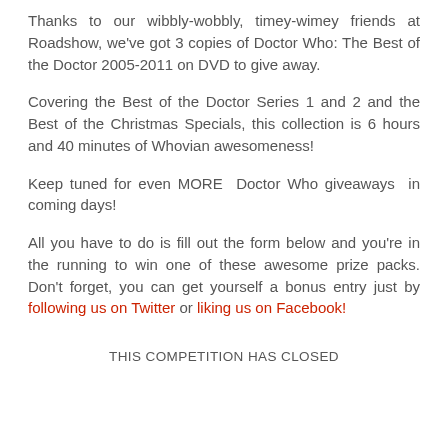Thanks to our wibbly-wobbly, timey-wimey friends at Roadshow, we've got 3 copies of Doctor Who: The Best of the Doctor 2005-2011 on DVD to give away.
Covering the Best of the Doctor Series 1 and 2 and the Best of the Christmas Specials, this collection is 6 hours and 40 minutes of Whovian awesomeness!
Keep tuned for even MORE Doctor Who giveaways in coming days!
All you have to do is fill out the form below and you're in the running to win one of these awesome prize packs. Don't forget, you can get yourself a bonus entry just by following us on Twitter or liking us on Facebook!
THIS COMPETITION HAS CLOSED